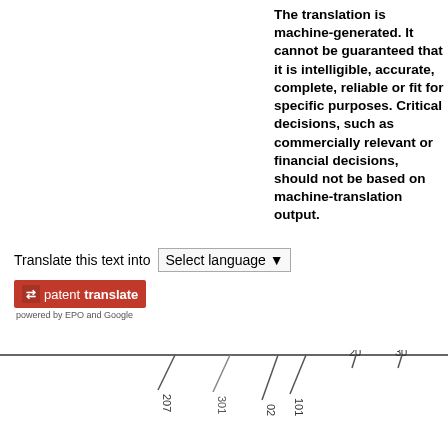Translate this text into  Select language
[Figure (logo): patenttranslate logo button (red background) with arrows icon, text 'patenttranslate', and subtitle 'powered by EPO and Google']
The translation is machine-generated. It cannot be guaranteed that it is intelligible, accurate, complete, reliable or fit for specific purposes. Critical decisions, such as commercially relevant or financial decisions, should not be based on machine-translation output.
[Figure (schematic): Horizontal line with tick marks and rotated number labels: 207, 301, 02, 101, 20 (partial), 30 (partial)]